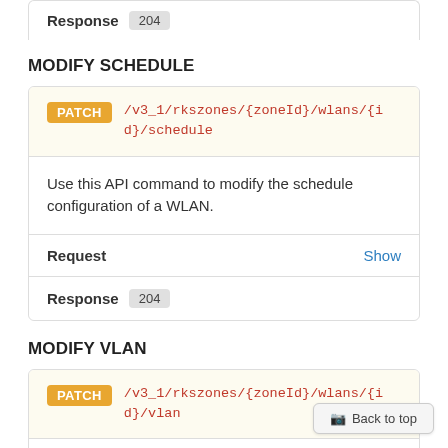Response 204
MODIFY SCHEDULE
PATCH /v3_1/rkszones/{zoneId}/wlans/{id}/schedule
Use this API command to modify the schedule configuration of a WLAN.
Request Show
Response 204
MODIFY VLAN
PATCH /v3_1/rkszones/{zoneId}/wlans/{id}/vlan
Use this API command to modify the VLAN c...